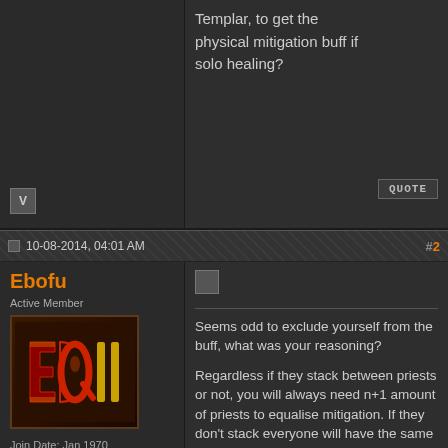Templar, to get the physical mitigation buff if solo healing?
10-08-2014, 04:01 AM
#2
Ebofu
Active Member
[Figure (logo): EQ2 (EverQuest II) game logo, red and gold stylized letters on dark brown background]
Join Date: Jan 1970
Posts: 0
Seems odd to exclude yourself from the buff, what was your reasoning?
Regardless if they stack between priests or not, you will always need n+1 amount of priests to equalise mitigation. If they don't stack everyone will have the same mitigation then, if they do stack you have excessive mitigation to everyone but the priests. Either way you are not achieving anything.
10-08-2014, 04:14 AM
#3